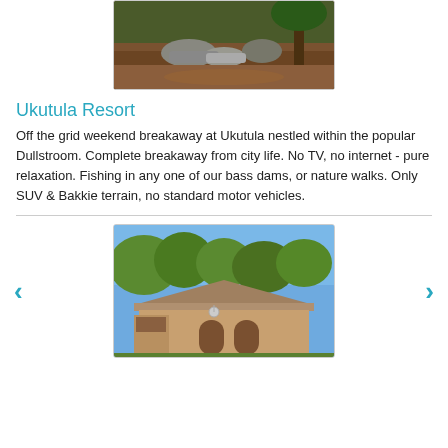[Figure (photo): Outdoor scene with rocks and tree roots on reddish-brown ground]
Ukutula Resort
Off the grid weekend breakaway at Ukutula nestled within the popular Dullstroom. Complete breakaway from city life. No TV, no internet - pure relaxation. Fishing in any one of our bass dams, or nature walks. Only SUV & Bakkie terrain, no standard motor vehicles.
[Figure (photo): Exterior of a lodge building with trees and blue sky in background]